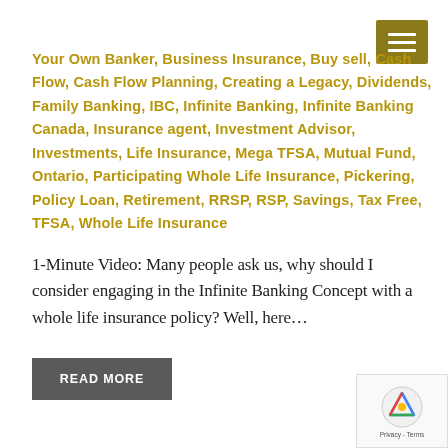[Figure (other): Hamburger menu button, dark olive/gold background with three white horizontal lines]
Your Own Banker, Business Insurance, Buy sell, Cash Flow, Cash Flow Planning, Creating a Legacy, Dividends, Family Banking, IBC, Infinite Banking, Infinite Banking Canada, Insurance agent, Investment Advisor, Investments, Life Insurance, Mega TFSA, Mutual Fund, Ontario, Participating Whole Life Insurance, Pickering, Policy Loan, Retirement, RRSP, RSP, Savings, Tax Free, TFSA, Whole Life Insurance
1-Minute Video: Many people ask us, why should I consider engaging in the Infinite Banking Concept with a whole life insurance policy? Well, here…
[Figure (other): READ MORE button, dark grey rectangular button with white bold uppercase text]
[Figure (other): reCAPTCHA widget in bottom right corner showing Google reCAPTCHA logo and Privacy - Terms text]